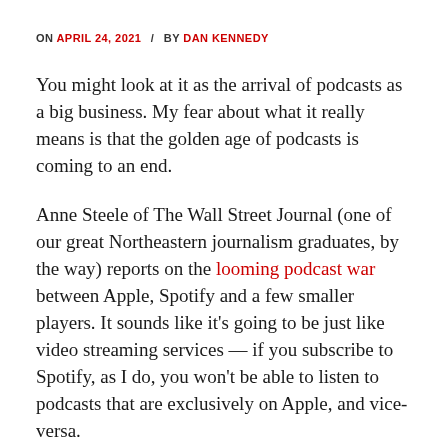ON APRIL 24, 2021 / BY DAN KENNEDY
You might look at it as the arrival of podcasts as a big business. My fear about what it really means is that the golden age of podcasts is coming to an end.
Anne Steele of The Wall Street Journal (one of our great Northeastern journalism graduates, by the way) reports on the looming podcast war between Apple, Spotify and a few smaller players. It sounds like it's going to be just like video streaming services — if you subscribe to Spotify, as I do, you won't be able to listen to podcasts that are exclusively on Apple, and vice-versa.